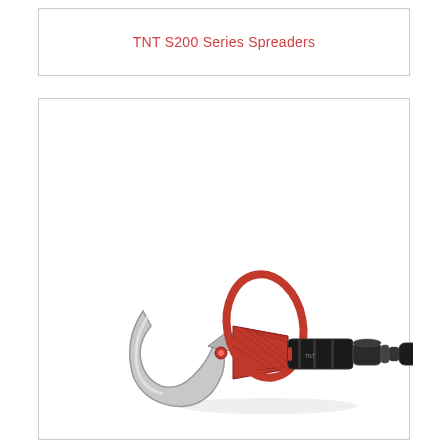TNT S200 Series Spreaders
[Figure (photo): Photo of a TNT SLC Series Cutter tool — a hydraulic cable cutter with a large curved silver blade on the left, red circular handle guard, black conical body, red and black cylindrical hydraulic unit, and black coupling end on the right.]
TNT SLC Series Cutters